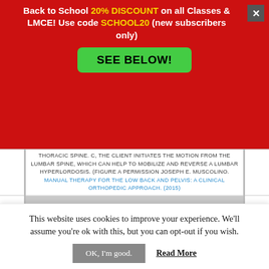Back to School 20% DISCOUNT on all Classes & LMCE! Use code SCHOOL20 (new subscribers only)
SEE BELOW!
THORACIC SPINE. C, THE CLIENT INITIATES THE MOTION FROM THE LUMBAR SPINE, WHICH CAN HELP TO MOBILIZE AND REVERSE A LUMBAR HYPERLORDOSIS. (FIGURE A PERMISSION JOSEPH E. MUSCOLINO. MANUAL THERAPY FOR THE LOW BACK AND PELVIS: A CLINICAL ORTHOPEDIC APPROACH. (2015)
[Figure (photo): Person in yellow shirt bending forward, demonstrating lumbar spine motion for clinical reference]
This website uses cookies to improve your experience. We'll assume you're ok with this, but you can opt-out if you wish.
OK, I'm good.
Read More